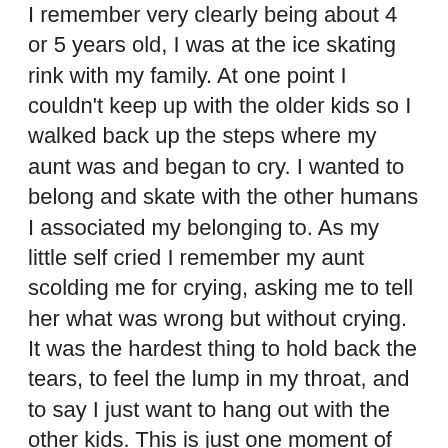I remember very clearly being about 4 or 5 years old, I was at the ice skating rink with my family. At one point I couldn't keep up with the older kids so I walked back up the steps where my aunt was and began to cry. I wanted to belong and skate with the other humans I associated my belonging to. As my little self cried I remember my aunt scolding me for crying, asking me to tell her what was wrong but without crying. It was the hardest thing to hold back the tears, to feel the lump in my throat, and to say I just want to hang out with the other kids. This is just one moment of the many similar childhood and teenage scenarios in my life.
I am so grateful for all my caretakers, and I know they are humans working with the tools they had at that time.
But this is just one moment like this i...